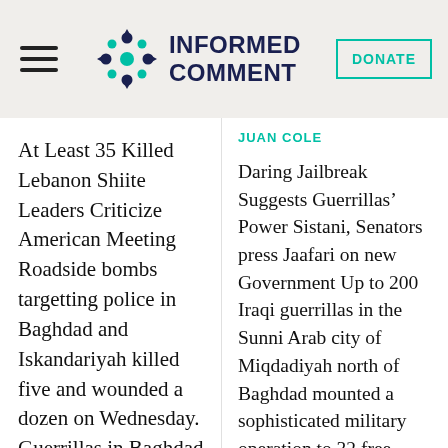INFORMED COMMENT
At Least 35 Killed Lebanon Shiite Leaders Criticize American Meeting Roadside bombs targetting police in Baghdad and Iskandariyah killed five and wounded a dozen on Wednesday. Guerrillas in Baghdad killed 15 Shiite pilgrims in separate
JUAN COLE
Daring Jailbreak Suggests Guerrillas' Power Sistani, Senators press Jaafari on new Government Up to 200 Iraqi guerrillas in the Sunni Arab city of Miqdadiyah north of Baghdad mounted a sophisticated military operation to 32 free prisoners in the local